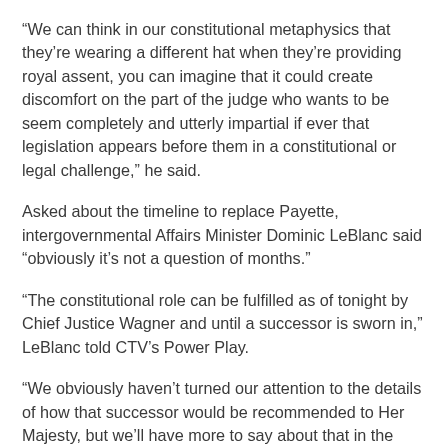“We can think in our constitutional metaphysics that they’re wearing a different hat when they’re providing royal assent, you can imagine that it could create discomfort on the part of the judge who wants to be seem completely and utterly impartial if ever that legislation appears before them in a constitutional or legal challenge,” he said.
Asked about the timeline to replace Payette, intergovernmental Affairs Minister Dominic LeBlanc said “obviously it’s not a question of months.”
“The constitutional role can be fulfilled as of tonight by Chief Justice Wagner and until a successor is sworn in,” LeBlanc told CTV’s Power Play.
“We obviously haven’t turned our attention to the details of how that successor would be recommended to Her Majesty, but we’ll have more to say about that in the